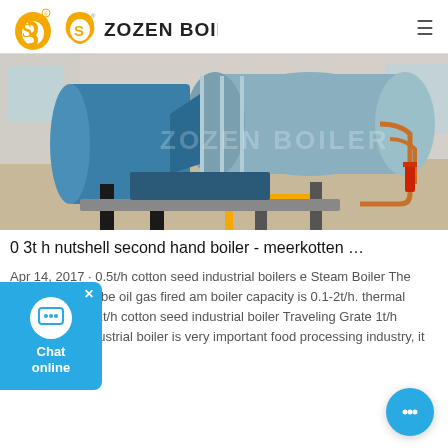ZOZEN BOILER
[Figure (photo): Industrial boiler equipment inside a factory/warehouse. Large cylindrical blue and silver boiler with associated piping and machinery on a concrete floor.]
0 3t h nutshell second hand boiler - meerkotten …
Apr 14, 2017 · 0.5t/h cotton seed industrial boilers e Steam Boiler The vertical water tube oil gas fired am boiler capacity is 0.1-2t/h. thermal efficiency is %.1t/h cotton seed industrial boiler Traveling Grate 1t/h cotton seed industrial boiler is very important food processing industry, it …